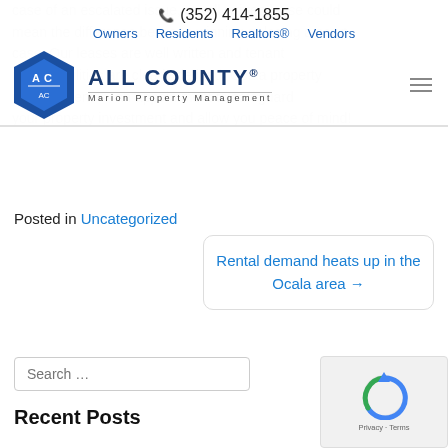(352) 414-1855 | Owners | Residents | Realtors® | Vendors | All County® Marion Property Management
case of an escalated issue, a well written lease could mean the difference between winning or losing a court case. Our leases are well written and tenant responsibilities are clearly defined. Ocala property management — an appointment to safeguard your property investment and allow you peace of mind!
Posted in Uncategorized
Rental demand heats up in the Ocala area →
Search ...
Recent Posts